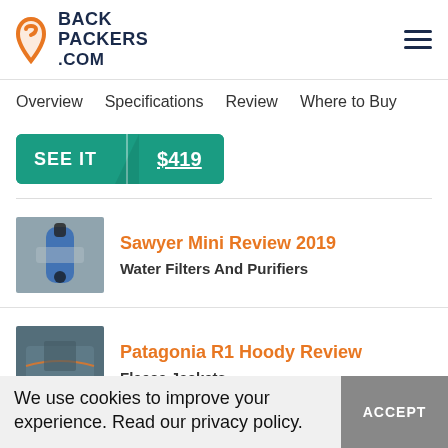BACK PACKERS .COM
Overview   Specifications   Review   Where to Buy
SEE IT  $419
Sawyer Mini Review 2019
Water Filters And Purifiers
Patagonia R1 Hoody Review
Fleece Jackets
We use cookies to improve your experience. Read our privacy policy.